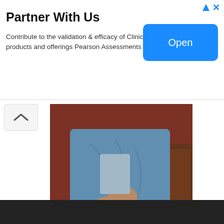Partner With Us
Contribute to the validation & efficacy of Clinical Assessment products and offerings Pearson Assessments
[Figure (other): Blue 'Open' button in advertisement banner]
[Figure (photo): Person in blue denim jacket sitting on a brown leather couch with a red brick wall background, holding their hands together, wearing a bracelet]
VISIT SITE